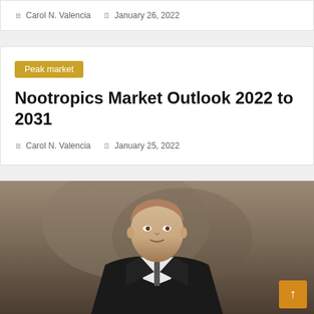Carol N. Valencia  |  January 26, 2022
Peak market
Nootropics Market Outlook 2022 to 2031
Carol N. Valencia  |  January 25, 2022
[Figure (photo): Portrait photo of a man in a dark suit, close-cropped hair, appears to be speaking or at a hearing]